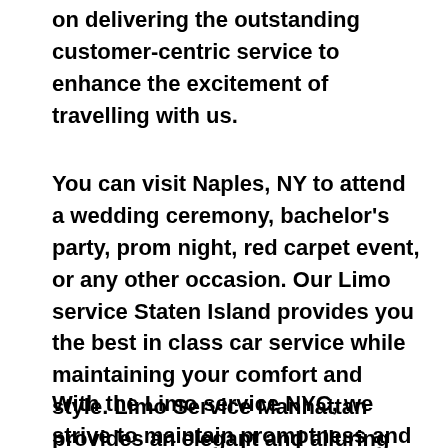on delivering the outstanding customer-centric service to enhance the excitement of travelling with us.
You can visit Naples, NY to attend a wedding ceremony, bachelor's party, prom night, red carpet event, or any other occasion. Our Limo service Staten Island provides you the best in class car service while maintaining your comfort and style. Limo Service Manhattan provides an elegant and alluring car rental service with professional and talented driver with the prime concern of utmost customer satisfaction and integrity.
With the Limo service NYC, we strive to maintain promptness and timely transport as our primary